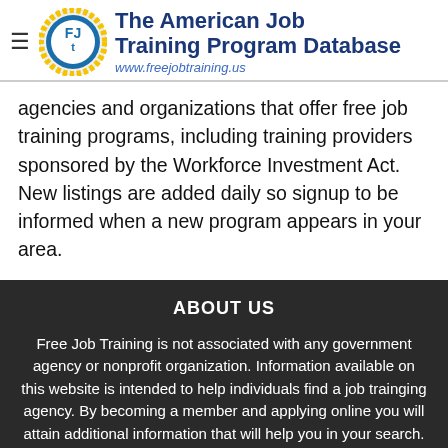The American Job Training Program Database — www.freejobtraining.us
agencies and organizations that offer free job training programs, including training providers sponsored by the Workforce Investment Act. New listings are added daily so signup to be informed when a new program appears in your area.
ABOUT US
Free Job Training is not associated with any government agency or nonprofit organization. Information available on this website is intended to help individuals find a job trainging agency. By becoming a member and applying online you will attain additional information that will help you in your search.
CONTACT US